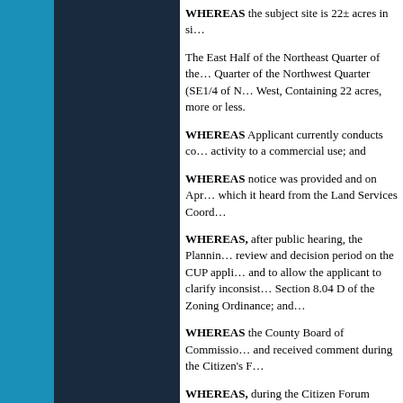WHEREAS the subject site is 22± acres in si…
The East Half of the Northeast Quarter of the… Quarter of the Northwest Quarter (SE1/4 of N… West, Containing 22 acres, more or less.
WHEREAS Applicant currently conducts co… activity to a commercial use; and
WHEREAS notice was provided and on Apr… which it heard from the Land Services Coord…
WHEREAS, after public hearing, the Plannin… review and decision period on the CUP appli… and to allow the applicant to clarify inconsist… Section 8.04 D of the Zoning Ordinance; and…
WHEREAS the County Board of Commissio… and received comment during the Citizen's F…
WHEREAS, during the Citizen Forum portio… Commission's recommendation and expressl… information and the Applicant specifically sta… Planning Commission and those concerns rai…
WHEREAS the unwillingness of the Applica… from determining whether the proposed use w… Ordinance and an extension of the time to de…